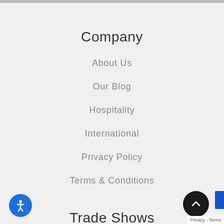Company
About Us
Our Blog
Hospitality
International
Privacy Policy
Terms & Conditions
Trade Shows
High Point
Atlanta